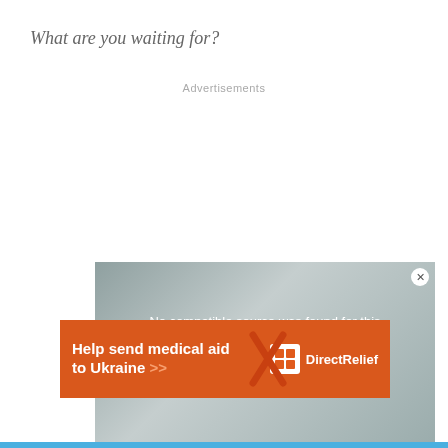What are you waiting for?
Advertisements
[Figure (screenshot): Video player overlay showing 'No compatible source was found for this media.' with a close button and an advertisement banner for Direct Relief reading 'Help send medical aid to Ukraine >>']